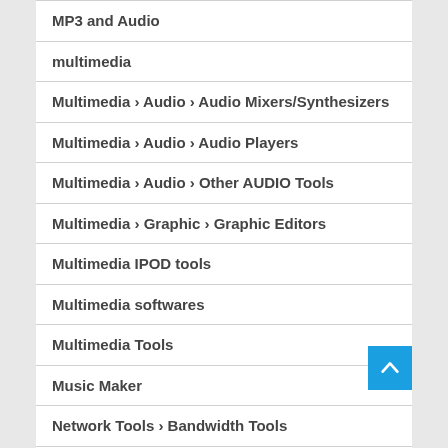MP3 and Audio
multimedia
Multimedia › Audio › Audio Mixers/Synthesizers
Multimedia › Audio › Audio Players
Multimedia › Audio › Other AUDIO Tools
Multimedia › Graphic › Graphic Editors
Multimedia IPOD tools
Multimedia softwares
Multimedia Tools
Music Maker
Network Tools › Bandwidth Tools
Network Tools › Email Tools